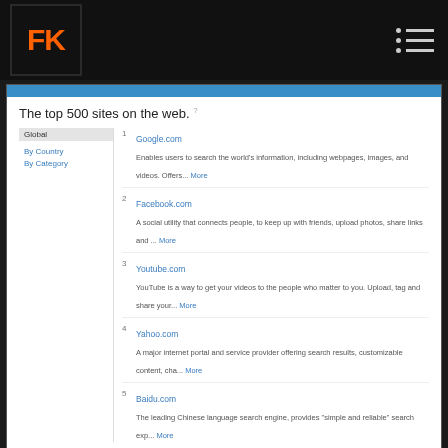[Figure (screenshot): FK logo header bar with orange FK text on black background and hamburger/bullet menu icon on right]
[Figure (screenshot): Alexa top 500 sites on the web screenshot showing Global, By Country, By Category sidebar and top 5 sites: 1. Google.com, 2. Facebook.com, 3. Youtube.com, 4. Yahoo.com, 5. Baidu.com with descriptions]
I'm not saying go make free software that cost millions. I'm just saying start building and create something useful. And you can doing that by starting with a simple blog post. Instead of having agenda, just be helpful. Why? You're building relationship. It's hard to turn a man down that's